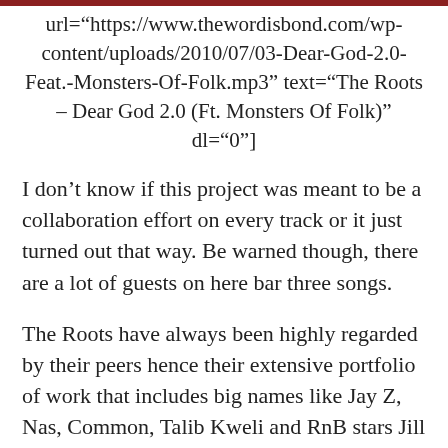[…url="https://www.thewordisbond.com/wp-content/uploads/2010/07/03-Dear-God-2.0-Feat.-Monsters-Of-Folk.mp3" text="The Roots – Dear God 2.0 (Ft. Monsters Of Folk)" dl="0"]
I don't know if this project was meant to be a collaboration effort on every track or it just turned out that way. Be warned though, there are a lot of guests on here bar three songs.
The Roots have always been highly regarded by their peers hence their extensive portfolio of work that includes big names like Jay Z, Nas, Common, Talib Kweli and RnB stars Jill Scott and Erykah Badu. However their critical successes have not been mirrored in the